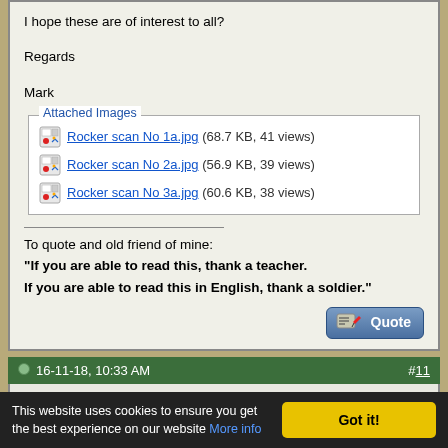I hope these are of interest to all?
Regards
Mark
Rocker scan No 1a.jpg (68.7 KB, 41 views)
Rocker scan No 2a.jpg (56.9 KB, 39 views)
Rocker scan No 3a.jpg (60.6 KB, 38 views)
To quote and old friend of mine: "If you are able to read this, thank a teacher. If you are able to read this in English, thank a soldier."
16-11-18, 10:33 AM  #11
badgecollector
Member
Join Date: Feb 2008
Posts: 3,929
This website uses cookies to ensure you get the best experience on our website More info